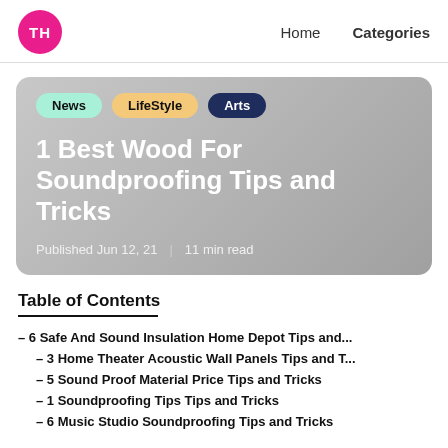TH | Home | Categories
[Figure (illustration): Hero card with tags News, LifeStyle, Arts, title '1 Best Wood For Soundproofing Tips and Tricks', and metadata 'Published Jun 12, 21 | 11 min read' on a grey gradient background]
Table of Contents
– 6 Safe And Sound Insulation Home Depot Tips and...
– 3 Home Theater Acoustic Wall Panels Tips and T...
– 5 Sound Proof Material Price Tips and Tricks
– 1 Soundproofing Tips Tips and Tricks
– 6 Music Studio Soundproofing Tips and Tricks